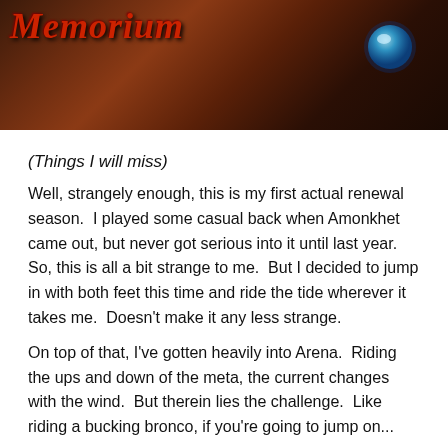[Figure (illustration): Dark fantasy banner image with the title 'Memorium' in red gothic/italic font on a dark brown background with a fantasy creature visible on the right side holding a glowing blue orb.]
(Things I will miss)
Well, strangely enough, this is my first actual renewal season.  I played some casual back when Amonkhet came out, but never got serious into it until last year.  So, this is all a bit strange to me.  But I decided to jump in with both feet this time and ride the tide wherever it takes me.  Doesn't make it any less strange.
On top of that, I've gotten heavily into Arena.  Riding the ups and down of the meta, the current changes with the wind.  But therein lies the challenge.  Like riding a bucking bronco, if you're going to jump on...